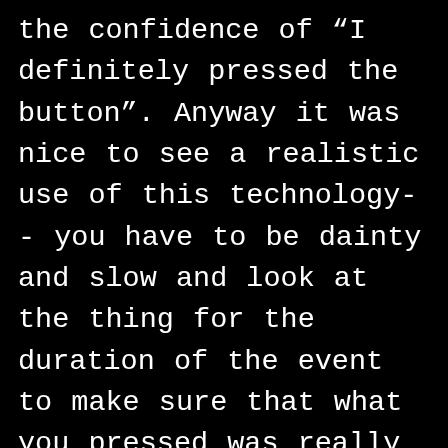the confidence of "I definitely pressed the button". Anyway it was nice to see a realistic use of this technology-- you have to be dainty and slow and look at the thing for the duration of the event to make sure that what you pressed was really a button and that it did the thing you anticipated. Oh yeah I liked the movie, this was hardly the only thing I noticed about it...